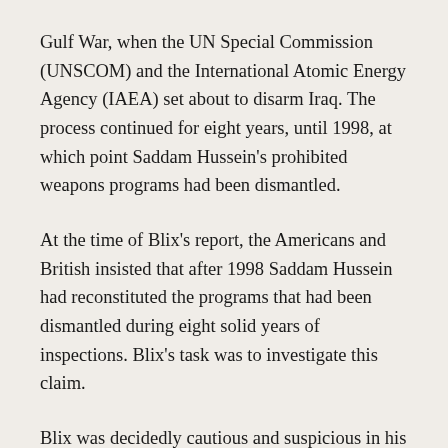Gulf War, when the UN Special Commission (UNSCOM) and the International Atomic Energy Agency (IAEA) set about to disarm Iraq. The process continued for eight years, until 1998, at which point Saddam Hussein's prohibited weapons programs had been dismantled.
At the time of Blix's report, the Americans and British insisted that after 1998 Saddam Hussein had reconstituted the programs that had been dismantled during eight solid years of inspections. Blix's task was to investigate this claim.
Blix was decidedly cautious and suspicious in his 2003 report. When the Iraqis claimed (truthfully) that all proscribed items had been destroyed between 1991 and 1998, Blix refused to take their word for it. He launched comprehensive inspections – interviews